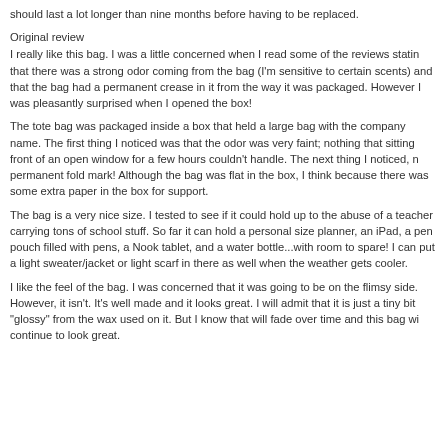should last a lot longer than nine months before having to be replaced.
Original review
I really like this bag. I was a little concerned when I read some of the reviews stating that there was a strong odor coming from the bag (I'm sensitive to certain scents) and that the bag had a permanent crease in it from the way it was packaged. However I was pleasantly surprised when I opened the box!
The tote bag was packaged inside a box that held a large bag with the company name. The first thing I noticed was that the odor was very faint; nothing that sitting front of an open window for a few hours couldn't handle. The next thing I noticed, no permanent fold mark! Although the bag was flat in the box, I think because there was some extra paper in the box for support.
The bag is a very nice size. I tested to see if it could hold up to the abuse of a teacher carrying tons of school stuff. So far it can hold a personal size planner, an iPad, a pen pouch filled with pens, a Nook tablet, and a water bottle...with room to spare! I can put a light sweater/jacket or light scarf in there as well when the weather gets cooler.
I like the feel of the bag. I was concerned that it was going to be on the flimsy side. However, it isn't. It's well made and it looks great. I will admit that it is just a tiny bit "glossy" from the wax used on it. But I know that will fade over time and this bag will continue to look great.